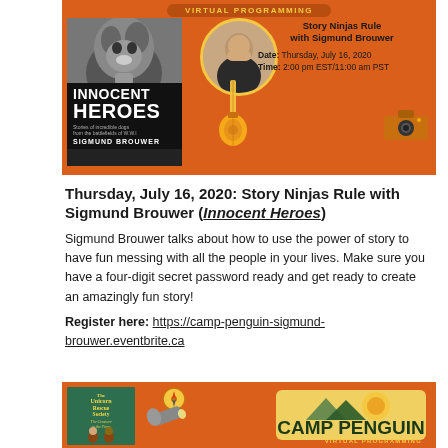[Figure (illustration): Orange banner for virtual programming event featuring the book 'Innocent Heroes' by Sigmund Brouwer, with author photo, guitar icon, camera icon, and event details: Story Ninjas Rule with Sigmund Brouwer, Date: Thursday, July 16, 2020, Time: 2:00 pm EST/11:00 am PST]
Thursday, July 16, 2020: Story Ninjas Rule with Sigmund Brouwer (Innocent Heroes)
Sigmund Brouwer talks about how to use the power of story to have fun messing with all the people in your lives. Make sure you have a four-digit secret password ready and get ready to create an amazingly fun story!
Register here: https://camp-penguin-sigmund-brouwer.eventbrite.ca
[Figure (illustration): Orange Camp Penguin Virtual Programming banner featuring 'The Unicorn Rescue Society' book cover and Camp Penguin logo]